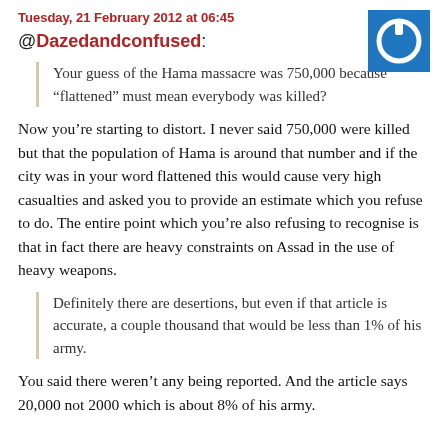Tuesday, 21 February 2012 at 06:45
@Dazedandconfused:
Your guess of the Hama massacre was 750,000 because “flattened” must mean everybody was killed?
Now you’re starting to distort. I never said 750,000 were killed but that the population of Hama is around that number and if the city was in your word flattened this would cause very high casualties and asked you to provide an estimate which you refuse to do. The entire point which you’re also refusing to recognise is that in fact there are heavy constraints on Assad in the use of heavy weapons.
Definitely there are desertions, but even if that article is accurate, a couple thousand that would be less than 1% of his army.
You said there weren’t any being reported. And the article says 20,000 not 2000 which is about 8% of his army.